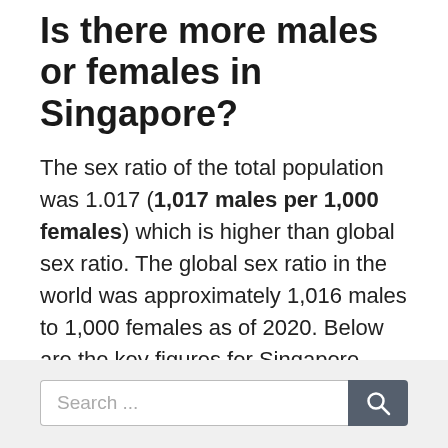Is there more males or females in Singapore?
The sex ratio of the total population was 1.017 (1,017 males per 1,000 females) which is higher than global sex ratio. The global sex ratio in the world was approximately 1,016 males to 1,000 females as of 2020. Below are the key figures for Singapore population in 2020: 54,137 live births.
Cities and Countries
Search ...